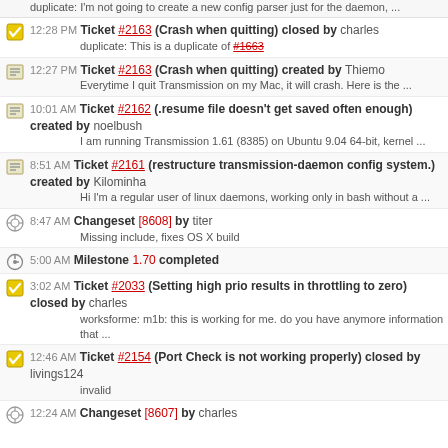duplicate: I'm not going to create a new config parser just for the daemon, ...
12:28 PM Ticket #2163 (Crash when quitting) closed by charles
duplicate: This is a duplicate of #1663
12:27 PM Ticket #2163 (Crash when quitting) created by Thiemo
Everytime I quit Transmission on my Mac, it will crash. Here is the ...
10:01 AM Ticket #2162 (.resume file doesn't get saved often enough) created by noelbush
I am running Transmission 1.61 (8385) on Ubuntu 9.04 64-bit, kernel ...
8:51 AM Ticket #2161 (restructure transmission-daemon config system.) created by Kilominha
Hi I'm a regular user of linux daemons, working only in bash without a ...
8:47 AM Changeset [8608] by titer
Missing include, fixes OS X build
5:00 AM Milestone 1.70 completed
3:02 AM Ticket #2033 (Setting high prio results in throttling to zero) closed by charles
worksforme: m1b: this is working for me. do you have anymore information that ...
12:46 AM Ticket #2154 (Port Check is not working properly) closed by livings124
invalid
12:24 AM Changeset [8607] by charles